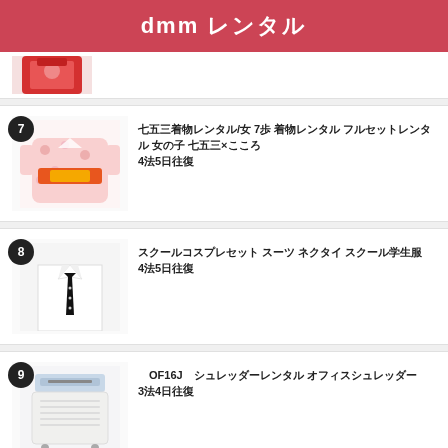dmm レンタル
[Figure (photo): Partial view of red kimono item (item 6, cropped at top)]
七五三着物レンタル/女 7歳 着物レンタル フルセットレンタル 女の子 七五三×こころ 4泊5日往復
スクールコスプレセット スーツ ネクタイ スクール学生服 4泊5日往復
【OF16J】シュレッダー レンタル オフィスシュレッダー 3泊4日往復
【EOS Kiss X10】Canon デジタル一眼レフカメラレンタル 2410万画素